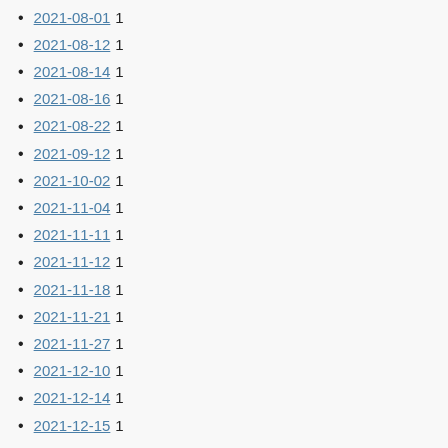2021-08-01 1
2021-08-12 1
2021-08-14 1
2021-08-16 1
2021-08-22 1
2021-09-12 1
2021-10-02 1
2021-11-04 1
2021-11-11 1
2021-11-12 1
2021-11-18 1
2021-11-21 1
2021-11-27 1
2021-12-10 1
2021-12-14 1
2021-12-15 1
2021-12-22 1
2021-12-26 1